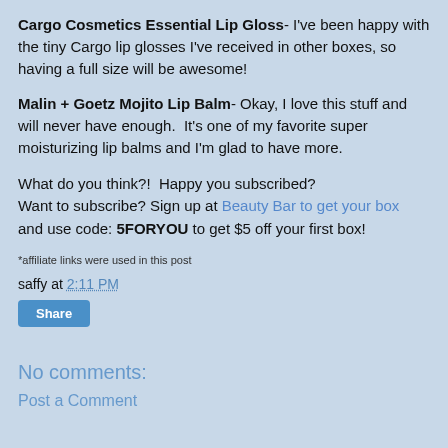Cargo Cosmetics Essential Lip Gloss- I've been happy with the tiny Cargo lip glosses I've received in other boxes, so having a full size will be awesome!
Malin + Goetz Mojito Lip Balm- Okay, I love this stuff and will never have enough.  It's one of my favorite super moisturizing lip balms and I'm glad to have more.
What do you think?!  Happy you subscribed? Want to subscribe? Sign up at Beauty Bar to get your box and use code: 5FORYOU to get $5 off your first box!
*affiliate links were used in this post
saffy at 2:11 PM
Share
No comments:
Post a Comment